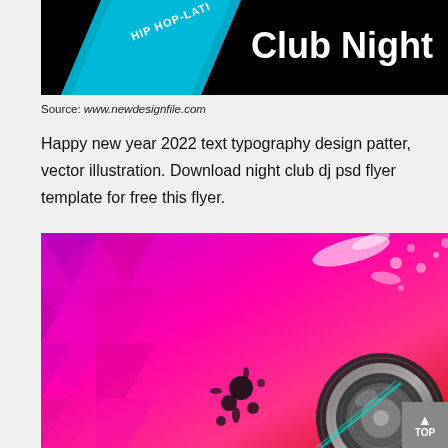[Figure (illustration): Night club flyer with dark background, purple glowing stars/lights, cyan diagonal ribbon banner with HIP HOP-LATIN text, and large white bold 'Club Night' text]
Source: www.newdesignfile.com
Happy new year 2022 text typography design patter, vector illustration. Download night club dj psd flyer template for free this flyer.
[Figure (illustration): Colorful nightclub/DJ flyer with pink, magenta, and red geometric diamond pattern background, white paint splashes, black ink splatter, and metallic speaker/turntable in lower right corner]